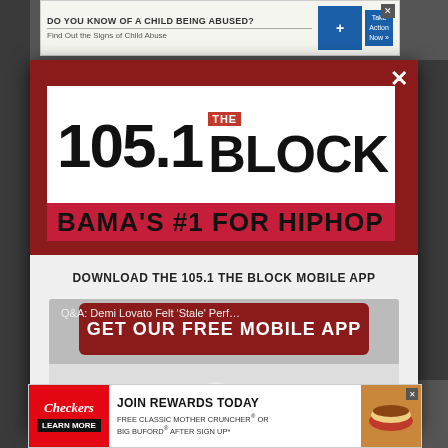[Figure (screenshot): Top banner advertisement: DO YOU KNOW OF A CHILD BEING ABUSED? Find Out the Signs of Child Abuse. Take Action Now.]
[Figure (logo): 105.1 THE BLOCK - BAMA'S #1 FOR HIPHOP radio station logo modal popup with close X button]
DOWNLOAD THE 105.1 THE BLOCK MOBILE APP
Q&A: Demi Lovato Felt 'Stale' Perf…
GET OUR FREE MOBILE APP
Also listen on:  amazon alexa
[Figure (screenshot): Checkers advertisement: JOIN REWARDS TODAY. FREE CLASSIC MOTHER CRUNCHER or BIG BUFORD AFTER SIGN UP. LEARN MORE button.]